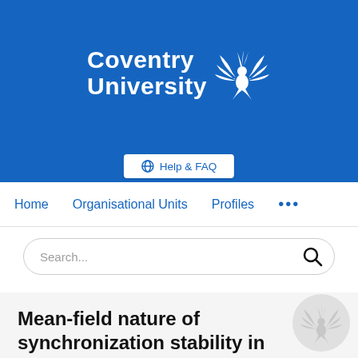[Figure (logo): Coventry University logo with phoenix bird on blue background]
[Figure (other): Help & FAQ button]
Home   Organisational Units   Profiles   ...
[Figure (other): Search bar with magnifying glass icon]
Mean-field nature of synchronization stability in